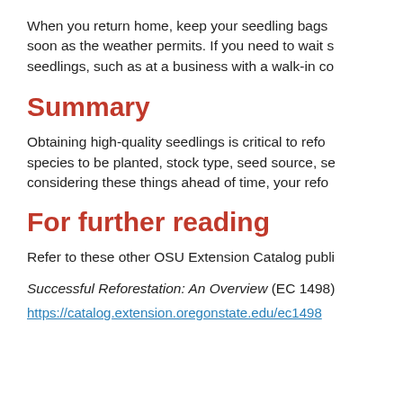When you return home, keep your seedling bags soon as the weather permits. If you need to wait s seedlings, such as at a business with a walk-in co
Summary
Obtaining high-quality seedlings is critical to refo species to be planted, stock type, seed source, se considering these things ahead of time, your refo
For further reading
Refer to these other OSU Extension Catalog publi
Successful Reforestation: An Overview (EC 1498)
https://catalog.extension.oregonstate.edu/ec1498